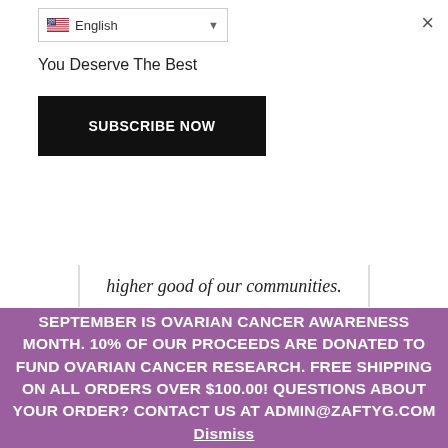[Figure (screenshot): Language selector dropdown showing English with US flag icon and dropdown arrow]
×
You Deserve The Best
[Figure (other): Black 'SUBSCRIBE NOW' button]
higher good of our communities.
SEPTEMBER IS OVARIAN CANCER AWARENESS MONTH. 10% OF OUR PROCEEDS ARE DONATED TO FUND OVARIAN CANCER RESEARCH. FREE SHIPPING ON ALL ORDERS OVER $100.00! QUESTIONS ABOUT YOUR ORDER? CONTACT US AT ADMIN@ZAFTYG.COM Dismiss